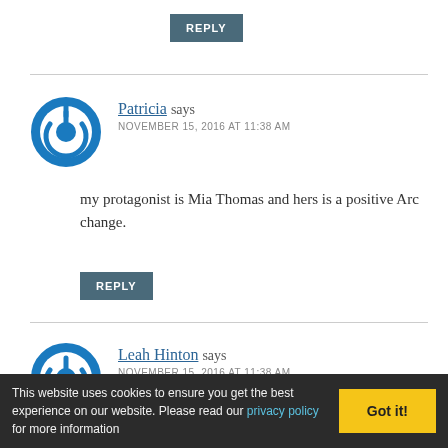REPLY
Patricia says
NOVEMBER 15, 2016 AT 11:38 AM
my protagonist is Mia Thomas and hers is a positive Arc change.
REPLY
Leah Hinton says
NOVEMBER 15, 2016 AT 11:38 AM
This website uses cookies to ensure you get the best experience on our website. Please read our privacy policy for more information